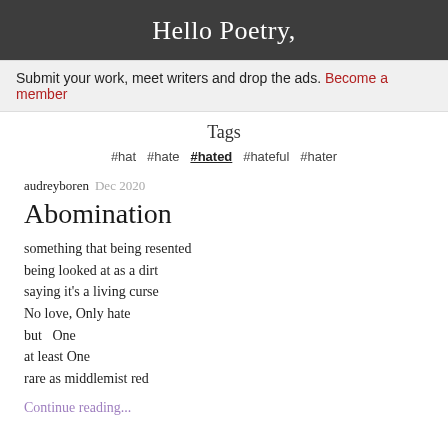Hello Poetry,
Submit your work, meet writers and drop the ads. Become a member
Tags
#hat #hate #hated #hateful #hater
audreyboren Dec 2020
Abomination
something that being resented
being looked at as a dirt
saying it's a living curse
No love, Only hate
but  One
at least One
rare as middlemist red
Continue reading...